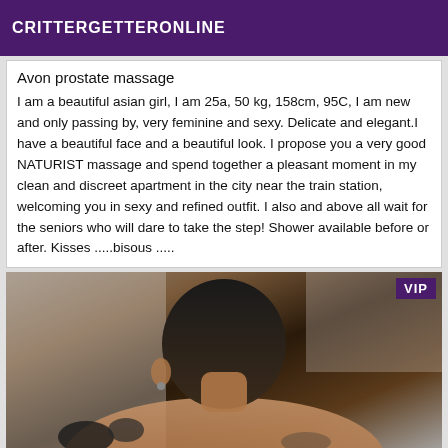CRITTERGETTERONLINE
Avon prostate massage
I am a beautiful asian girl, I am 25a, 50 kg, 158cm, 95C, I am new and only passing by, very feminine and sexy. Delicate and elegant.I have a beautiful face and a beautiful look. I propose you a very good NATURIST massage and spend together a pleasant moment in my clean and discreet apartment in the city near the train station, welcoming you in sexy and refined outfit. I also and above all wait for the seniors who will dare to take the step! Shower available before or after. Kisses .....bisous .....
[Figure (photo): Photo of a person receiving a massage, view from behind, dark hair, indoor setting. VIP badge in top right corner.]